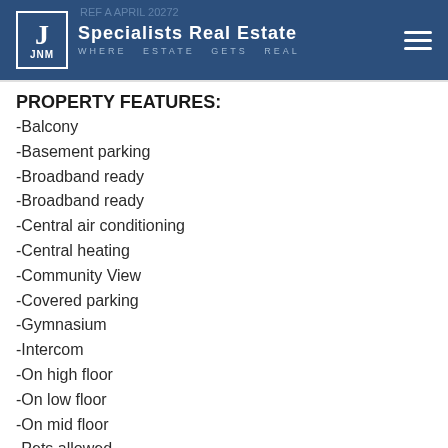JNM Specialists Real Estate — WHERE ESTATE GETS REAL
REF A APRIL 20272
PROPERTY FEATURES:
-Balcony
-Basement parking
-Broadband ready
-Broadband ready
-Central air conditioning
-Central heating
-Community View
-Covered parking
-Gymnasium
-Intercom
-On high floor
-On low floor
-On mid floor
-Pets allowed